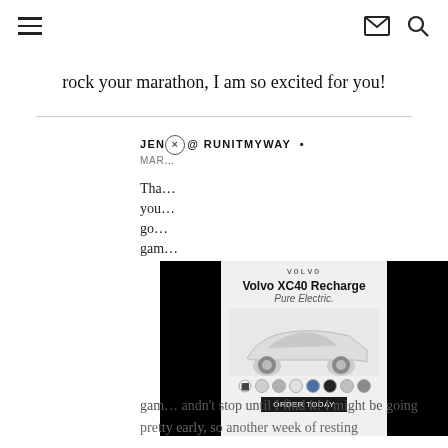Navigation header with hamburger menu, email icon, and search icon
rock your marathon, I am so excited for you!
JEN@ RUNITMYWAY •
MAR...
[Figure (other): Advertisement overlay showing Volvo XC40 Recharge Pure Electric car ad with color swatches and CTA button, flanked by black panels]
Tha... you... go... game... andn't stop until I find it! I might be going pretty early, so another week of resting